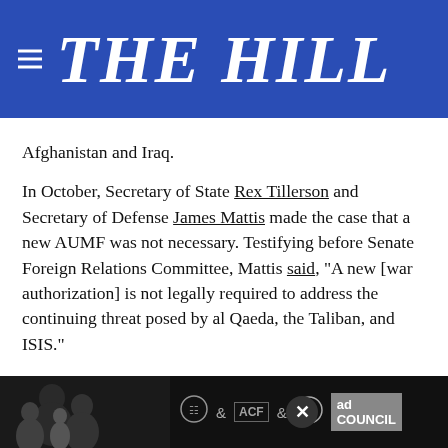THE HILL
Afghanistan and Iraq.
In October, Secretary of State Rex Tillerson and Secretary of Defense James Mattis made the case that a new AUMF was not necessary. Testifying before Senate Foreign Relations Committee, Mattis said, “A new [war authorization] is not legally required to address the continuing threat posed by al Qaeda, the Taliban, and ISIS.”
However, some members of Congress are pushing back. There are currently six AUMF proposals being considered on the Hill. They are different in their details… it autho… on to “declare war” — or in the context of modern times
[Figure (photo): Ad overlay showing a black and white photo of adults and child with HHS, ACF, and Ad Council logos]